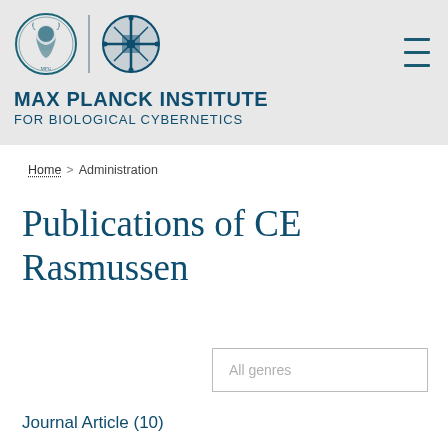MAX PLANCK INSTITUTE FOR BIOLOGICAL CYBERNETICS
Home > Administration
Publications of CE Rasmussen
All genres
Journal Article (10)